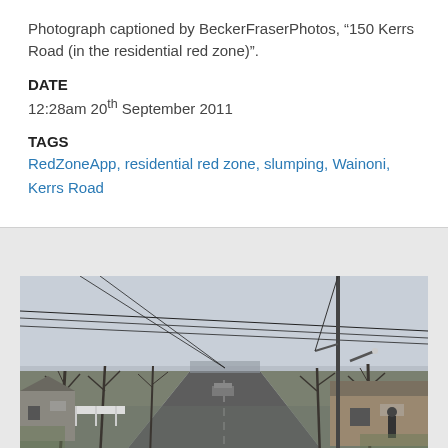Photograph captioned by BeckerFraserPhotos, "150 Kerrs Road (in the residential red zone)".
DATE
12:28am 20th September 2011
TAGS
RedZoneApp, residential red zone, slumping, Wainoni, Kerrs Road
[Figure (photo): Street-level photograph of a residential road (Kerrs Road) in Christchurch's red zone. The road is empty and wet, flanked by bare winter trees on both sides, power lines overhead, and residential houses visible. Overcast grey sky. A utility pole stands on the right and a person is visible on the right footpath. A car is parked further along the road.]